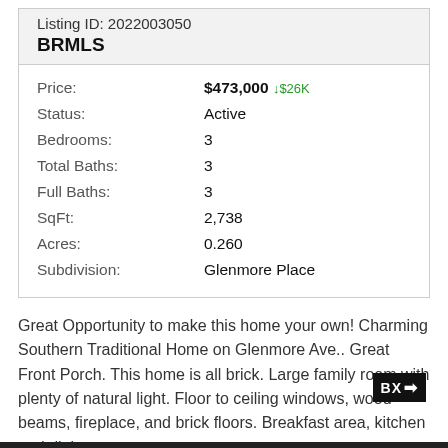Listing ID: 2022003050
BRMLS
| Price: | $473,000 ↓$26K |
| Status: | Active |
| Bedrooms: | 3 |
| Total Baths: | 3 |
| Full Baths: | 3 |
| SqFt: | 2,738 |
| Acres: | 0.260 |
| Subdivision: | Glenmore Place |
Great Opportunity to make this home your own! Charming Southern Traditional Home on Glenmore Ave.. Great Front Porch. This home is all brick. Large family room with plenty of natural light. Floor to ceiling windows, wood beams, fireplace, and brick floors. Breakfast area, kitchen and dining...